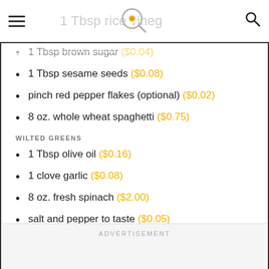1 Tbsp rice vinegar [logo] [search]
1 Tbsp brown sugar ($0.04)
1 Tbsp sesame seeds ($0.08)
pinch red pepper flakes (optional) ($0.02)
8 oz. whole wheat spaghetti ($0.75)
WILTED GREENS
1 Tbsp olive oil ($0.16)
1 clove garlic ($0.08)
8 oz. fresh spinach ($2.00)
salt and pepper to taste ($0.05)
EGG
4 large eggs ($1.10)
ADVERTISEMENT